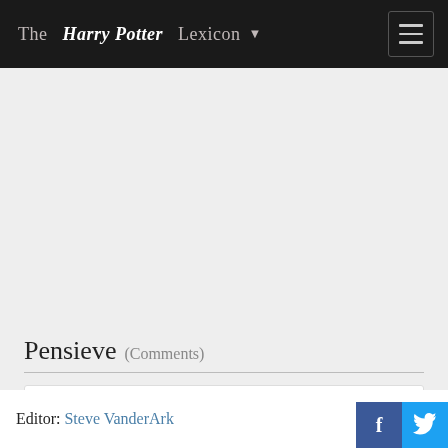The Harry Potter Lexicon
Pensieve (Comments)
View 1 thoughts swirling around the pensieve. Add your own.
Editor: Steve VanderArk